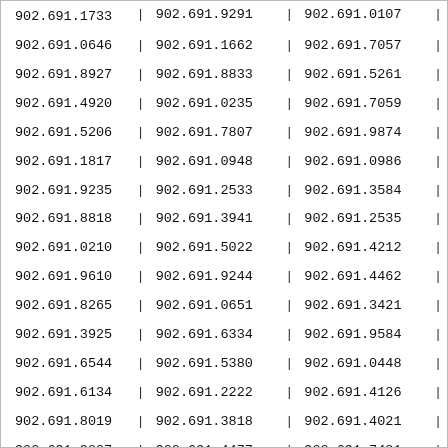| col1 | sep1 | col2 | sep2 | col3 | sep3 |
| --- | --- | --- | --- | --- | --- |
| 902.691.1733 | | | 902.691.9291 | | | 902.691.0107 | | |
| 902.691.0646 | | | 902.691.1662 | | | 902.691.7057 | | |
| 902.691.8927 | | | 902.691.8833 | | | 902.691.5261 | | |
| 902.691.4920 | | | 902.691.0235 | | | 902.691.7059 | | |
| 902.691.5206 | | | 902.691.7807 | | | 902.691.9874 | | |
| 902.691.1817 | | | 902.691.0948 | | | 902.691.0986 | | |
| 902.691.9235 | | | 902.691.2533 | | | 902.691.3584 | | |
| 902.691.8818 | | | 902.691.3941 | | | 902.691.2535 | | |
| 902.691.0210 | | | 902.691.5022 | | | 902.691.4212 | | |
| 902.691.9610 | | | 902.691.9244 | | | 902.691.4462 | | |
| 902.691.8265 | | | 902.691.0651 | | | 902.691.3421 | | |
| 902.691.3925 | | | 902.691.6334 | | | 902.691.9584 | | |
| 902.691.6544 | | | 902.691.5380 | | | 902.691.0448 | | |
| 902.691.6134 | | | 902.691.2222 | | | 902.691.4126 | | |
| 902.691.8019 | | | 902.691.3818 | | | 902.691.4021 | | |
| 902.691.3827 | | | 902.691.4477 | | | 902.691.7481 | | |
| 902.691.5961 | | | 902.691.0733 | | | 902.691.5612 | | |
| 902.691.2484 | | | 902.691.5135 | | | 902.691.5048 | | |
| 902.691.5448 | | | 902.691.8498 | | | 902.691.0070 | | |